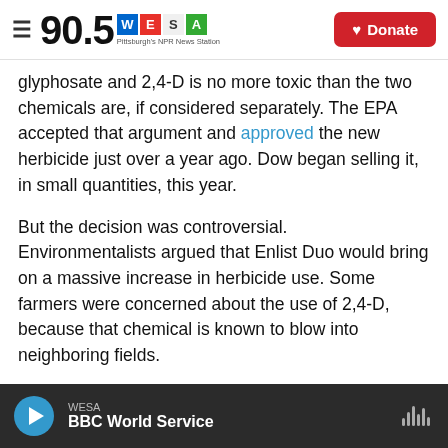90.5 WESA — Pittsburgh's NPR News Station | Donate
glyphosate and 2,4-D is no more toxic than the two chemicals are, if considered separately. The EPA accepted that argument and approved the new herbicide just over a year ago. Dow began selling it, in small quantities, this year.
But the decision was controversial. Environmentalists argued that Enlist Duo would bring on a massive increase in herbicide use. Some farmers were concerned about the use of 2,4-D, because that chemical is known to blow into neighboring fields.
WESA — BBC World Service